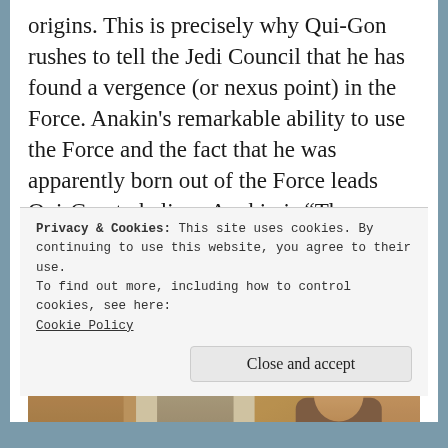origins. This is precisely why Qui-Gon rushes to tell the Jedi Council that he has found a vergence (or nexus point) in the Force. Anakin’s remarkable ability to use the Force and the fact that he was apparently born out of the Force leads Qui-Gon to believe Anakin is “The Chosen One” from ancient Jedi prophecy, said to bring balance to the Force.
[Figure (photo): A movie still from Star Wars: The Phantom Menace showing Qui-Gon Jinn (a tall man with long gray hair and beard) speaking with young Anakin Skywalker (a boy with dark hair), set against a sandy desert rock backdrop.]
Privacy & Cookies: This site uses cookies. By continuing to use this website, you agree to their use.
To find out more, including how to control cookies, see here:
Cookie Policy
Close and accept